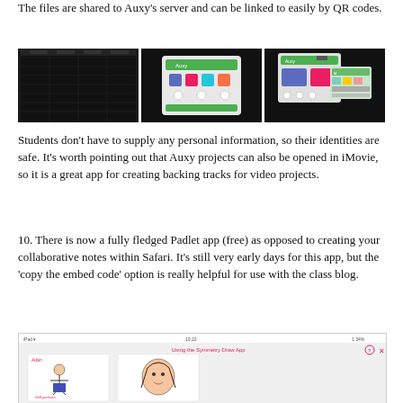The files are shared to Auxy's server and can be linked to easily by QR codes.
[Figure (screenshot): Three screenshots showing Auxy app interface on dark backgrounds]
Students don't have to supply any personal information, so their identities are safe. It's worth pointing out that Auxy projects can also be opened in iMovie, so it is a great app for creating backing tracks for video projects.
10. There is now a fully fledged Padlet app (free) as opposed to creating your collaborative notes within Safari. It's still very early days for this app, but the 'copy the embed code' option is really helpful for use with the class blog.
[Figure (screenshot): Screenshot of Padlet app showing student portrait drawings on an iPad]